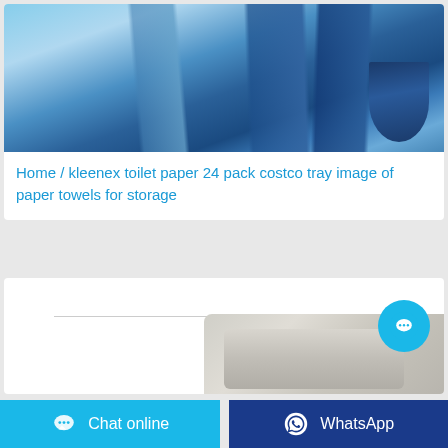[Figure (photo): Upward-angle photograph of modern glass skyscrapers against a blue sky with clouds]
Home / kleenex toilet paper 24 pack costco tray image of paper towels for storage
[Figure (photo): Partial view of stacked toilet paper rolls on the right side, with a horizontal separator line at top]
[Figure (other): Cyan circular chat bubble button floating over the product image area]
Chat online
WhatsApp